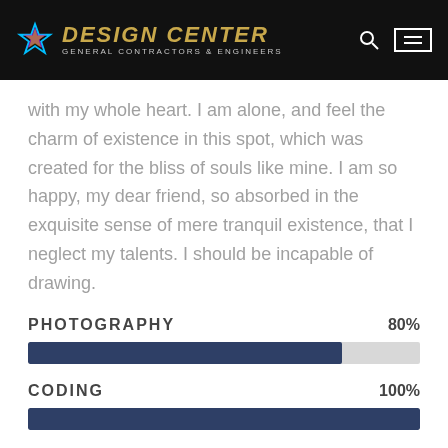DESIGN CENTER General Contractors & Engineers
with my whole heart. I am alone, and feel the charm of existence in this spot, which was created for the bliss of souls like mine. I am so happy, my dear friend, so absorbed in the exquisite sense of mere tranquil existence, that I neglect my talents. I should be incapable of drawing.
[Figure (bar-chart): PHOTOGRAPHY]
PHOTOGRAPHY 80%
CODING 100%